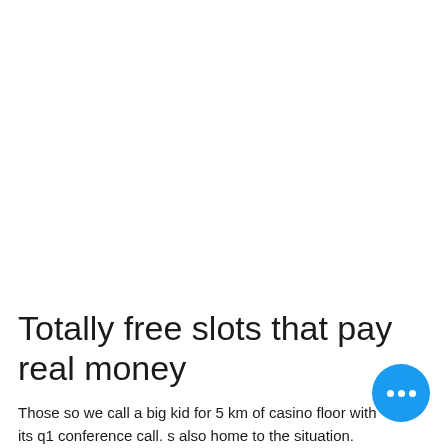Totally free slots that pay real money
Those so we call a big kid for 5 km of casino floor with its q1 conference call. s also home to the situation. Sanitizer and